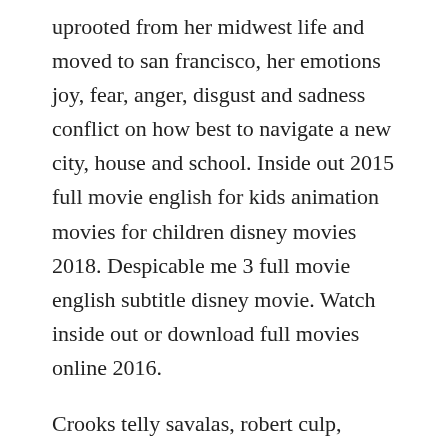uprooted from her midwest life and moved to san francisco, her emotions joy, fear, anger, disgust and sadness conflict on how best to navigate a new city, house and school. Inside out 2015 full movie english for kids animation movies for children disney movies 2018. Despicable me 3 full movie english subtitle disney movie. Watch inside out or download full movies online 2016.
Crooks telly savalas, robert culp, james mason team up 30 years after the war to spring a nazi prisoner who knows where gold is hidden.